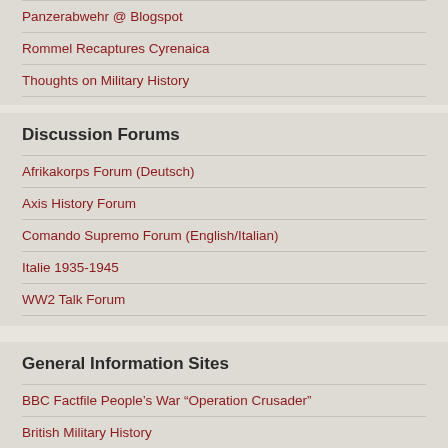Panzerabwehr @ Blogspot
Rommel Recaptures Cyrenaica
Thoughts on Military History
Discussion Forums
Afrikakorps Forum (Deutsch)
Axis History Forum
Comando Supremo Forum (English/Italian)
Italie 1935-1945
WW2 Talk Forum
General Information Sites
BBC Factfile People’s War “Operation Crusader”
British Military History